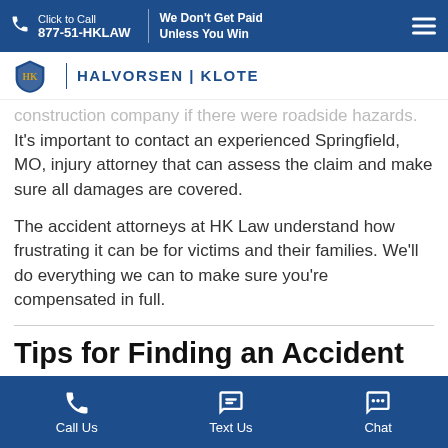Click to Call 877-51-HKLAW | We Don't Get Paid Unless You Win
[Figure (logo): Halvorsen Klote law firm logo with shield emblem]
construction company if there were roadside hazards. It's important to contact an experienced Springfield, MO, injury attorney that can assess the claim and make sure all damages are covered.
The accident attorneys at HK Law understand how frustrating it can be for victims and their families. We'll do everything we can to make sure you're compensated in full.
Tips for Finding an Accident
Call Us | Text Us | Chat